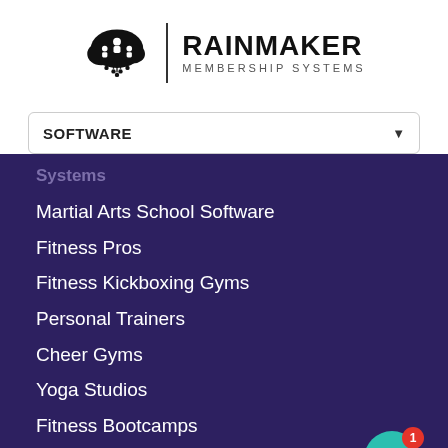[Figure (logo): Rainmaker Membership Systems logo with cloud icon and text]
SOFTWARE
Systems
Martial Arts School Software
Fitness Pros
Fitness Kickboxing Gyms
Personal Trainers
Cheer Gyms
Yoga Studios
Fitness Bootcamps
Dance Studios
Box Gyms